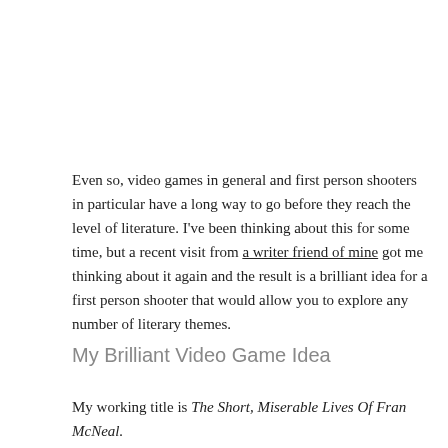Even so, video games in general and first person shooters in particular have a long way to go before they reach the level of literature. I've been thinking about this for some time, but a recent visit from a writer friend of mine got me thinking about it again and the result is a brilliant idea for a first person shooter that would allow you to explore any number of literary themes.
My Brilliant Video Game Idea
My working title is The Short, Miserable Lives Of Fran McNeal.